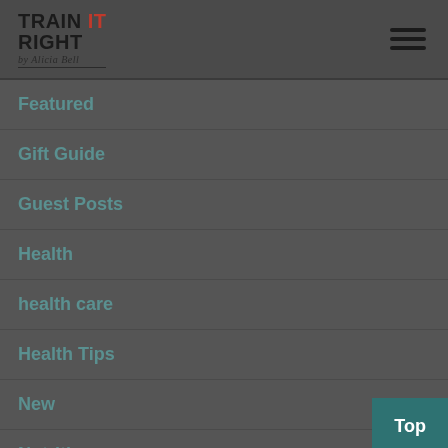Train It Right by Alicia Bell
Featured
Gift Guide
Guest Posts
Health
health care
Health Tips
New
Nutrition